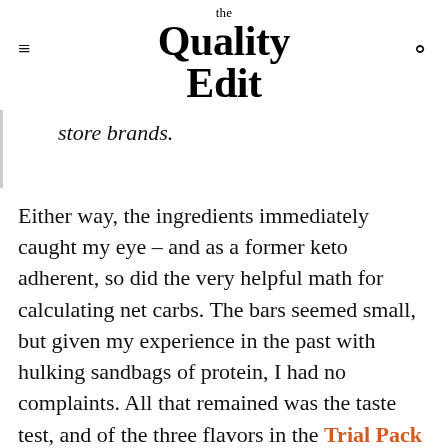the Quality Edit
store brands.
Either way, the ingredients immediately caught my eye – and as a former keto adherent, so did the very helpful math for calculating net carbs. The bars seemed small, but given my experience in the past with hulking sandbags of protein, I had no complaints. All that remained was the taste test, and of the three flavors in the Trial Pack ($24.99) – Peanut Butter Crunch, Peanut Butter Chocolate Crunch, and Chocolate Crunch – the choco-holic in me immediately sprung for the latter.